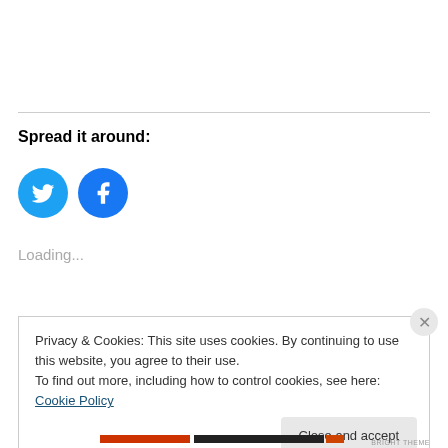Spread it around:
[Figure (other): Twitter and Facebook social share icon buttons (circular, blue)]
Loading...
Privacy & Cookies: This site uses cookies. By continuing to use this website, you agree to their use.
To find out more, including how to control cookies, see here: Cookie Policy
Close and accept